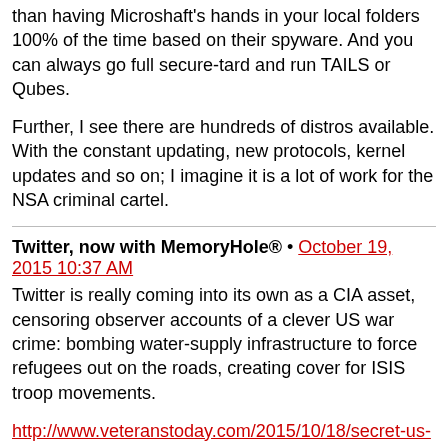than having Microshaft's hands in your local folders 100% of the time based on their spyware. And you can always go full secure-tard and run TAILS or Qubes.
Further, I see there are hundreds of distros available. With the constant updating, new protocols, kernel updates and so on; I imagine it is a lot of work for the NSA criminal cartel.
Twitter, now with MemoryHole® • October 19, 2015 10:37 AM
Twitter is really coming into its own as a CIA asset, censoring observer accounts of a clever US war crime: bombing water-supply infrastructure to force refugees out on the roads, creating cover for ISIS troop movements.
http://www.veteranstoday.com/2015/10/18/secret-us-attack-cited-by-putin-part-of-pentagon-biowarfare-plan/
Wael • October 19, 2015 1:37 PM
Speaking of CIA, this hack is in the news:
http://www.newsmax.com/t/newsmax/article/696925